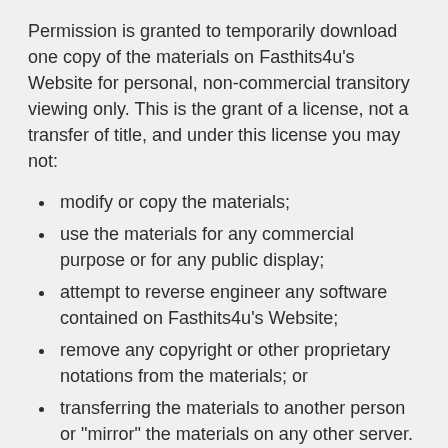Permission is granted to temporarily download one copy of the materials on Fasthits4u's Website for personal, non-commercial transitory viewing only. This is the grant of a license, not a transfer of title, and under this license you may not:
modify or copy the materials;
use the materials for any commercial purpose or for any public display;
attempt to reverse engineer any software contained on Fasthits4u's Website;
remove any copyright or other proprietary notations from the materials; or
transferring the materials to another person or "mirror" the materials on any other server.
This will let Fasthits4u to terminate upon violations of any of these restrictions. Upon termination, your viewing right will also be terminated and you should